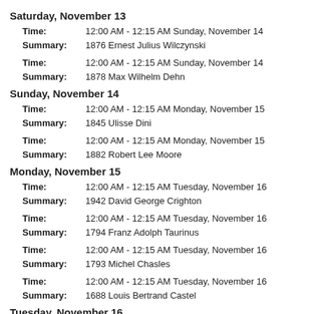Saturday, November 13
Time: 12:00 AM - 12:15 AM Sunday, November 14
Summary: 1876 Ernest Julius Wilczynski
Time: 12:00 AM - 12:15 AM Sunday, November 14
Summary: 1878 Max Wilhelm Dehn
Sunday, November 14
Time: 12:00 AM - 12:15 AM Monday, November 15
Summary: 1845 Ulisse Dini
Time: 12:00 AM - 12:15 AM Monday, November 15
Summary: 1882 Robert Lee Moore
Monday, November 15
Time: 12:00 AM - 12:15 AM Tuesday, November 16
Summary: 1942 David George Crighton
Time: 12:00 AM - 12:15 AM Tuesday, November 16
Summary: 1794 Franz Adolph Taurinus
Time: 12:00 AM - 12:15 AM Tuesday, November 16
Summary: 1793 Michel Chasles
Time: 12:00 AM - 12:15 AM Tuesday, November 16
Summary: 1688 Louis Bertrand Castel
Tuesday, November 16
Time: 12:00 AM - 12:15 AM Wednesday, November 17
Summary: 1835 Eugenio Beltrami